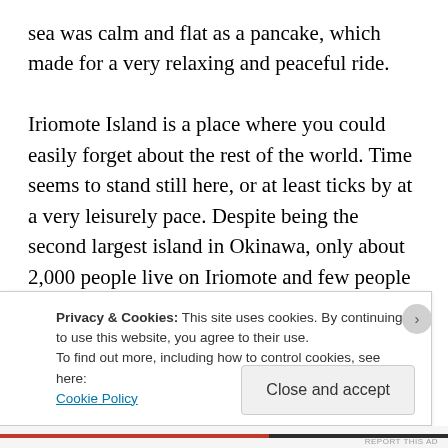sea was calm and flat as a pancake, which made for a very relaxing and peaceful ride.

Iriomote Island is a place where you could easily forget about the rest of the world. Time seems to stand still here, or at least ticks by at a very leisurely pace. Despite being the second largest island in Okinawa, only about 2,000 people live on Iriomote and few people travel here because of its remote location. There is just one main road that follows the coastline partway round the island, so your view is always the emerald sea on one
Privacy & Cookies: This site uses cookies. By continuing to use this website, you agree to their use.
To find out more, including how to control cookies, see here:
Cookie Policy
Close and accept